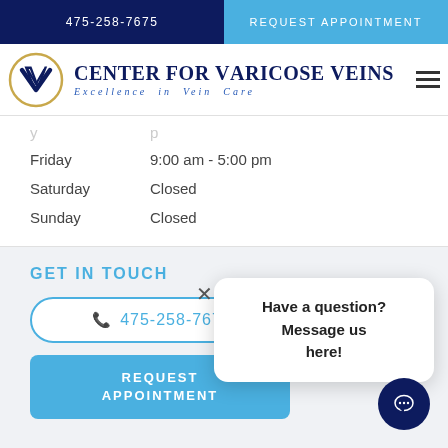475-258-7675
REQUEST APPOINTMENT
[Figure (logo): Center for Varicose Veins logo with V icon in gold circle, navy text, subtitle Excellence in Vein Care]
Friday   9:00 am - 5:00 pm
Saturday   Closed
Sunday   Closed
GET IN TOUCH
475-258-7675
REQUEST APPOINTMENT
Have a question? Message us here!